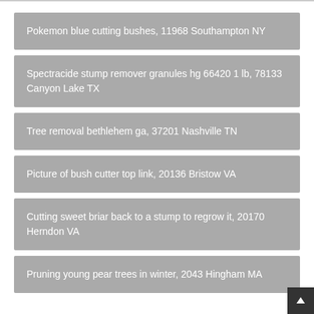Pokemon blue cutting bushes, 11968 Southampton NY
Spectracide stump remover granules hg 66420 1 lb, 78133 Canyon Lake TX
Tree removal bethlehem ga, 37201 Nashville TN
Picture of bush cutter top link, 20136 Bristow VA
Cutting sweet briar back to a stump to regrow it, 20170 Herndon VA
Pruning young pear trees in winter, 2043 Hingham MA